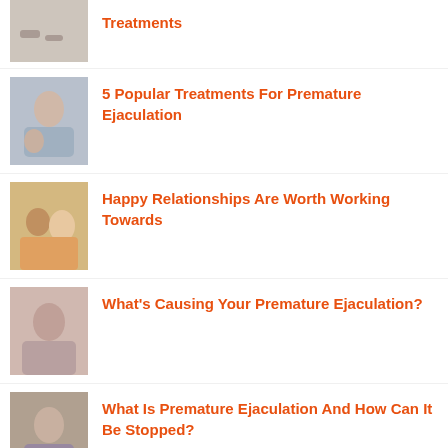Treatments
5 Popular Treatments For Premature Ejaculation
Happy Relationships Are Worth Working Towards
What's Causing Your Premature Ejaculation?
What Is Premature Ejaculation And How Can It Be Stopped?